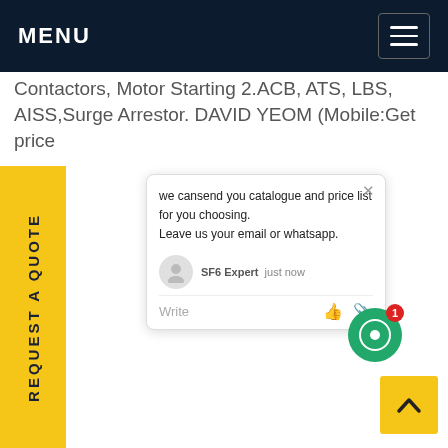MENU
Contactors, Motor Starting 2.ACB, ATS, LBS, AISS,Surge Arrestor. DAVID YEOM (Mobile:Get price
REQUEST A QUOTE
[Figure (screenshot): Chat popup with message: we cansend you catalogue and price list for you choosing. Leave us your email or whatsapp. Agent: SF6 Expert, just now. Write row with icons.]
[Figure (other): Green circular chat button with badge showing 1]
[Figure (other): Yellow back-to-top button with upward chevron arrow]